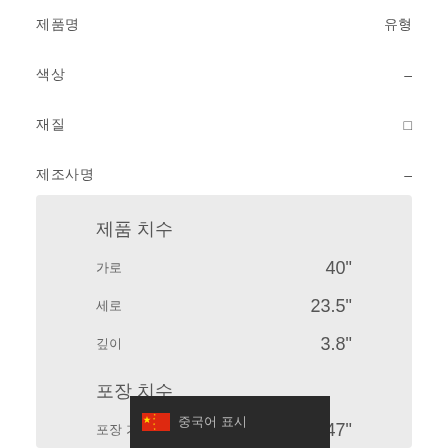제품명 / 유형
색상 / –
재질 / □
제조사명 / –
제품 치수
가로 / 40"
세로 / 23.5"
깊이 / 3.8"
포장 치수
포장 가로 / 47"
포장 세로 / 28"
포장 깊이 / 8.3"
중국어 표시